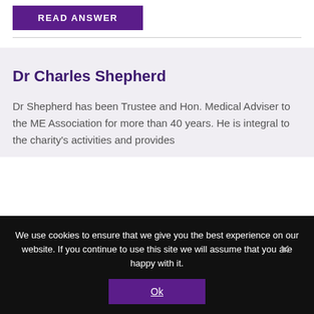READ ANSWER
Dr Charles Shepherd
Dr Shepherd has been Trustee and Hon. Medical Adviser to the ME Association for more than 40 years. He is integral to the charity's activities and provides
We use cookies to ensure that we give you the best experience on our website. If you continue to use this site we will assume that you are happy with it.
Ok